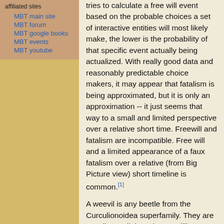affiliated sites
MBT main site
MBT forum
MBT google books
MBT events
MBT youtube
tries to calculate a free will event based on the probable choices a set of interactive entities will most likely make, the lower is the probability of that specific event actually being actualized. With really good data and reasonably predictable choice makers, it may appear that fatalism is being approximated, but it is only an approximation -- it just seems that way to a small and limited perspective over a relative short time. Freewill and fatalism are incompatible. Free will and a limited appearance of a faux fatalism over a relative (from Big Picture view) short timeline is common.[1]
A weevil is any beetle from the Curculionoidea superfamily. They are usually small, less than 6 millimetres (0.24 in), and herbivorous. There are